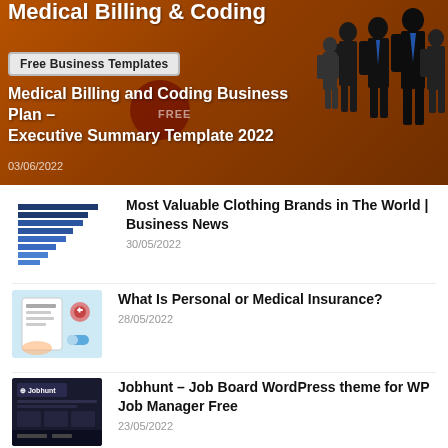[Figure (illustration): Orange/brown hero banner for a business plan website about Medical Billing & Coding, showing silhouetted business figures on the right, a 'Free Business Templates' badge, and the article title 'Medical Billing and Coding Business Plan – Executive Summary Template 2022' dated 03/06/2022]
Medical Billing and Coding Business Plan – Executive Summary Template 2022
03/06/2022
[Figure (bar-chart): Horizontal bar chart thumbnail showing most valuable clothing brands]
Most Valuable Clothing Brands in The World | Business News
30/05/2022
[Figure (illustration): Medical insurance illustration with form, stethoscope and medical icons on light blue background]
What Is Personal or Medical Insurance?
28/05/2022
[Figure (screenshot): Jobhunt - Job Board WordPress theme screenshot with dark background]
Jobhunt – Job Board WordPress theme for WP Job Manager Free
23/05/2022